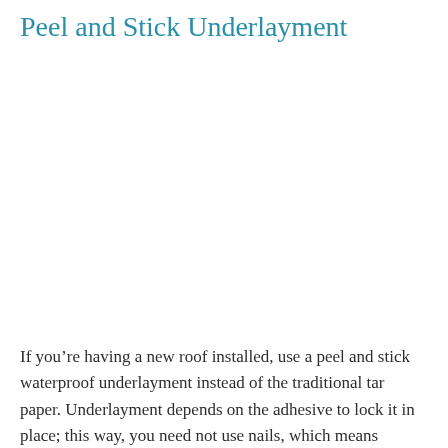Peel and Stick Underlayment
[Figure (photo): Photo of peel and stick underlayment installation on a roof (image area, content not visible in crop)]
If you’re having a new roof installed, use a peel and stick waterproof underlayment instead of the traditional tar paper. Underlayment depends on the adhesive to lock it in place; this way, you need not use nails, which means reduced